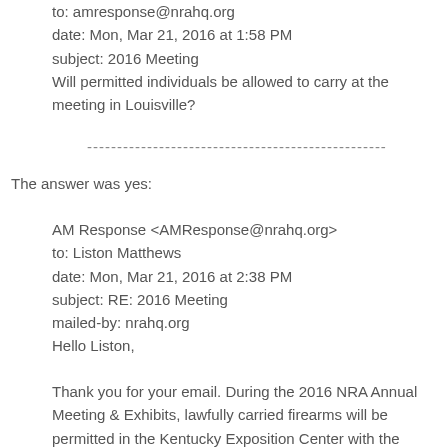to: amresponse@nrahq.org
date: Mon, Mar 21, 2016 at 1:58 PM
subject: 2016 Meeting
Will permitted individuals be allowed to carry at the meeting in Louisville?
------------------------------------------------
The answer was yes:
AM Response <AMResponse@nrahq.org>
to: Liston Matthews
date: Mon, Mar 21, 2016 at 2:38 PM
subject: RE: 2016 Meeting
mailed-by: nrahq.org
Hello Liston,
Thank you for your email. During the 2016 NRA Annual Meeting & Exhibits, lawfully carried firearms will be permitted in the Kentucky Exposition Center with the proper license in